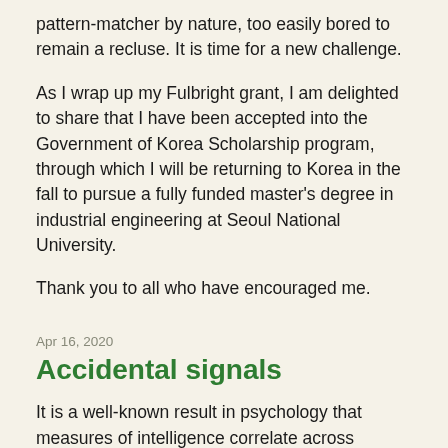pattern-matcher by nature, too easily bored to remain a recluse. It is time for a new challenge.
As I wrap up my Fulbright grant, I am delighted to share that I have been accepted into the Government of Korea Scholarship program, through which I will be returning to Korea in the fall to pursue a fully funded master's degree in industrial engineering at Seoul National University.
Thank you to all who have encouraged me.
Apr 16, 2020
Accidental signals
It is a well-known result in psychology that measures of intelligence correlate across domains. If you are